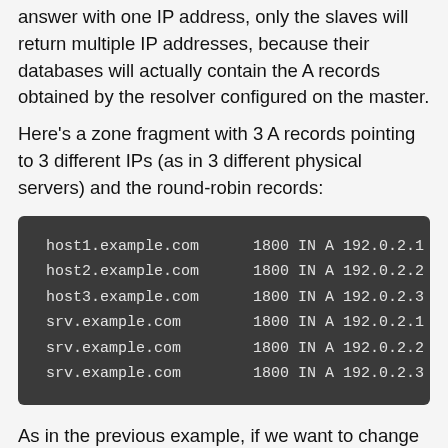answer with one IP address, only the slaves will return multiple IP addresses, because their databases will actually contain the A records obtained by the resolver configured on the master.
Here's a zone fragment with 3 A records pointing to 3 different IPs (as in 3 different physical servers) and the round-robin records:
[Figure (other): Code block showing DNS zone records: host1.example.com 1800 IN A 192.0.2.1, host2.example.com 1800 IN A 192.0.2.2, host3.example.com 1800 IN A 192.0.2.3, srv.example.com 1800 IN A 192.0.2.1, srv.example.com 1800 IN A 192.0.2.2, srv.example.com 1800 IN A 192.0.2.3]
As in the previous example, if we want to change the IP address of host1 we'll also have to change it in